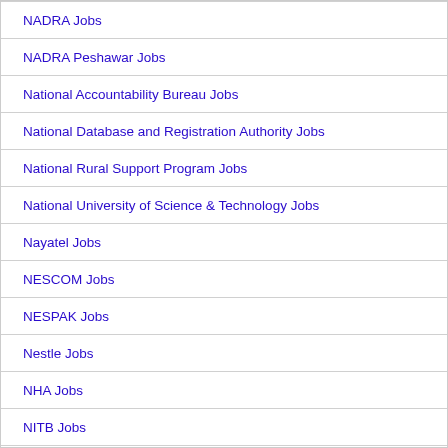NADRA Jobs
NADRA Peshawar Jobs
National Accountability Bureau Jobs
National Database and Registration Authority Jobs
National Rural Support Program Jobs
National University of Science & Technology Jobs
Nayatel Jobs
NESCOM Jobs
NESPAK Jobs
Nestle Jobs
NHA Jobs
NITB Jobs
NLC Jobs
Non Teaching Jobs